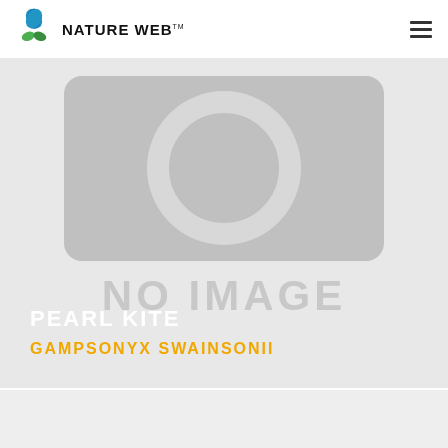NATURE WEB
[Figure (photo): No image placeholder card with camera icon graphic and text 'NO IMAGE'. Shows bird entry: PEARL KITE / GAMPSONYX SWAINSONII on a gray background.]
PEARL KITE
GAMPSONYX SWAINSONII
[Figure (photo): Partially visible second gray card at the bottom of the page.]